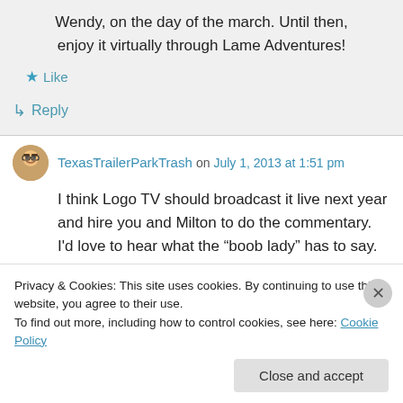Wendy, on the day of the march. Until then, enjoy it virtually through Lame Adventures!
Like
Reply
TexasTrailerParkTrash on July 1, 2013 at 1:51 pm
I think Logo TV should broadcast it live next year and hire you and Milton to do the commentary. I'd love to hear what the “boob lady” has to say.
Privacy & Cookies: This site uses cookies. By continuing to use this website, you agree to their use. To find out more, including how to control cookies, see here: Cookie Policy
Close and accept